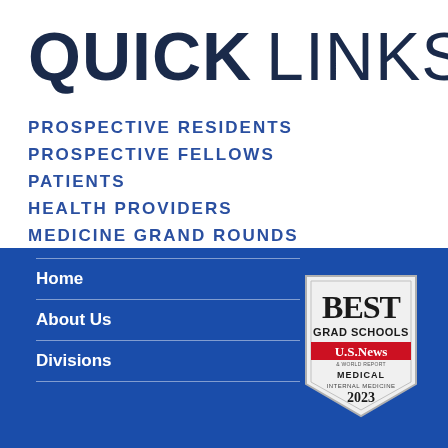QUICK LINKS
PROSPECTIVE RESIDENTS
PROSPECTIVE FELLOWS
PATIENTS
HEALTH PROVIDERS
MEDICINE GRAND ROUNDS
Home
About Us
Divisions
[Figure (logo): U.S. News Best Grad Schools badge — Medical Internal Medicine 2023]